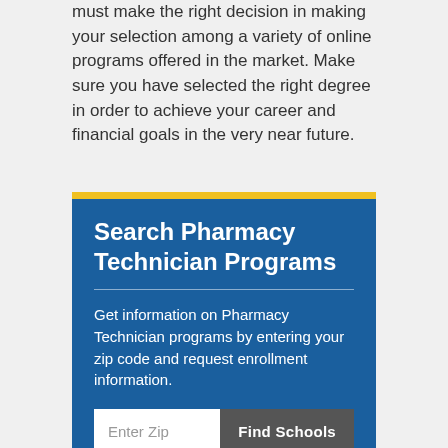must make the right decision in making your selection among a variety of online programs offered in the market. Make sure you have selected the right degree in order to achieve your career and financial goals in the very near future.
Search Pharmacy Technician Programs
Get information on Pharmacy Technician programs by entering your zip code and request enrollment information.